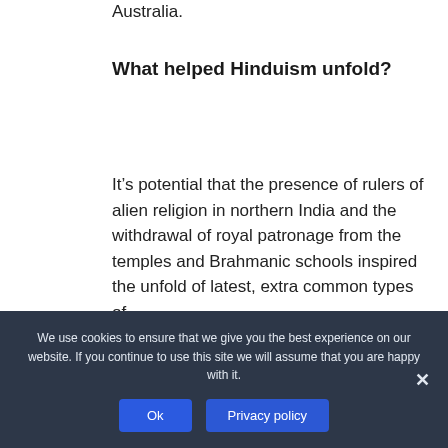Australia.
What helped Hinduism unfold?
It’s potential that the presence of rulers of alien religion in northern India and the withdrawal of royal patronage from the temples and Brahmanic schools inspired the unfold of latest, extra common types of
We use cookies to ensure that we give you the best experience on our website. If you continue to use this site we will assume that you are happy with it.